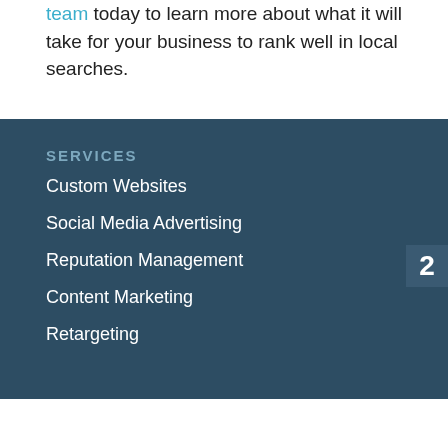team today to learn more about what it will take for your business to rank well in local searches.
SERVICES
Custom Websites
Social Media Advertising
Reputation Management
Content Marketing
Retargeting